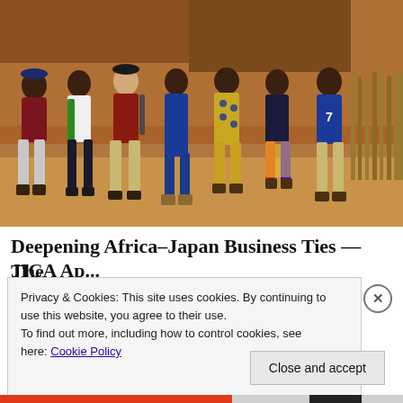[Figure (photo): Group photo of seven young men standing together outdoors in front of a mud/clay building. One man appears to be of East Asian descent wearing a dark red polo and a cap, surrounded by six African men wearing colorful outfits. The ground is red/orange dirt.]
Deepening Africa–Japan Business Ties — The
Privacy & Cookies: This site uses cookies. By continuing to use this website, you agree to their use.
To find out more, including how to control cookies, see here: Cookie Policy
Close and accept